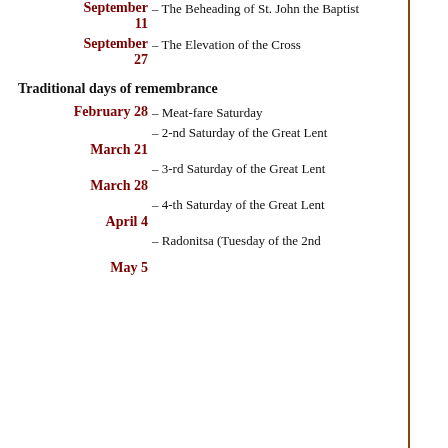September 11 – The Beheading of St. John the Baptist
September 27 – The Elevation of the Cross
Traditional days of remembrance
February 28 – Meat-fare Saturday
March 21 – 2-nd Saturday of the Great Lent
March 28 – 3-rd Saturday of the Great Lent
April 4 – 4-th Saturday of the Great Lent
May 5 – Radonitsa (Tuesday of the 2nd